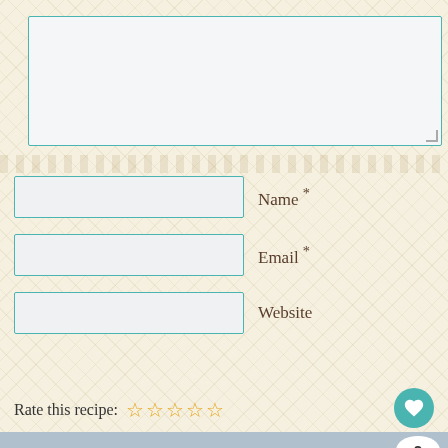[Figure (screenshot): Comment form textarea (large input box) at top of page]
Name *
Email *
Website
Post Comment
Rate this recipe: ☆☆☆☆☆
[Figure (photo): Close-up photo of a hand holding a golden-brown fried or baked food item (appears to be a puff or nugget), with more food items blurred in the background. Share badge showing '2' and a share icon overlaid. 'WHAT'S NEXT → Easy Broccoli Salad Recipe' overlay at bottom right.]